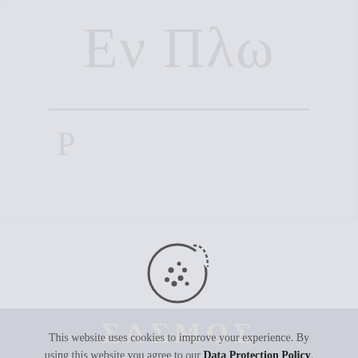Εν Πλω
Ρ...
[Figure (illustration): Cookie consent icon: a round cookie with a bite taken out and chocolate chip dots, drawn in outline style]
This website uses cookies to improve your experience. By using this website you agree to our Data Protection Policy.
Read more
Accept all
ΣΑΣΜΟΣ